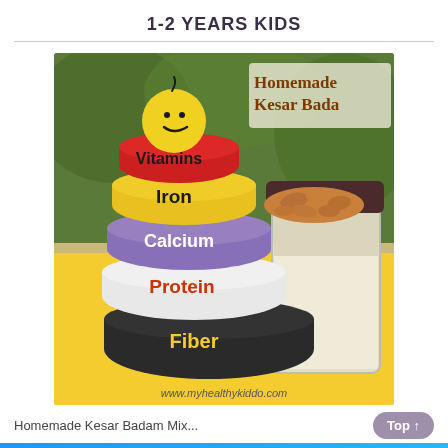1-2 YEARS KIDS
[Figure (photo): Photo showing stacked colorful rings toy with labels Vitamins (red ring), Iron (yellow ring), Calcium (purple ring), Protein (white ring), Fiber (black ring), topped with a smiley face ball; next to a glass jar containing almonds and powder labeled Homemade Kesar Badam. Website: www.myhealthykiddo.com]
Homemade Kesar Badam Mix...